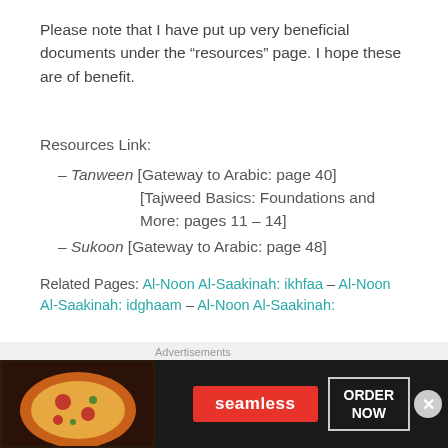Please note that I have put up very beneficial documents under the “resources” page. I hope these are of benefit.
Resources Link:
– Tanween [Gateway to Arabic: page 40]
[Tajweed Basics: Foundations and More: pages 11 – 14]
– Sukoon [Gateway to Arabic: page 48]
Related Pages: Al-Noon Al-Saakinah: ikhfaa – Al-Noon Al-Saakinah: idghaam – Al-Noon Al-Saakinah:
[Figure (infographic): Seamless food delivery advertisement banner with pizza image, Seamless logo button in red, and ORDER NOW button with white border on dark background.]